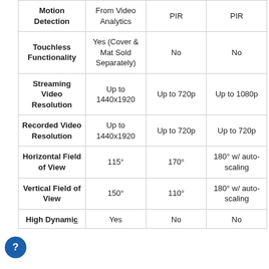|  | From Video Analytics | PIR | PIR |
| --- | --- | --- | --- |
| Motion Detection | From Video Analytics | PIR | PIR |
| Touchless Functionality | Yes (Cover & Mat Sold Separately) | No | No |
| Streaming Video Resolution | Up to 1440x1920 | Up to 720p | Up to 1080p |
| Recorded Video Resolution | Up to 1440x1920 | Up to 720p | Up to 720p |
| Horizontal Field of View | 115° | 170° | 180° w/ auto-scaling |
| Vertical Field of View | 150° | 110° | 180° w/ auto-scaling |
| High Dynamic | Yes | No | No |